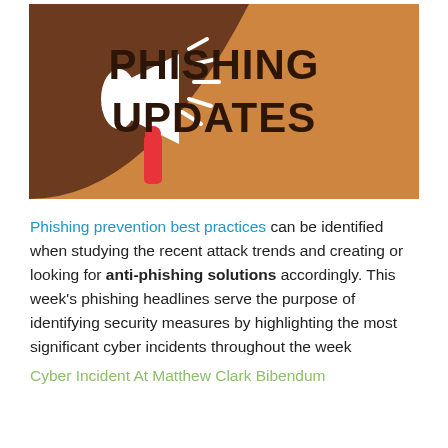[Figure (illustration): Banner image with brown/orange background showing a white megaphone with red handle and lines indicating sound, with text 'PHISHING UPDATES' in dark bold letters on the right side]
Phishing prevention best practices can be identified when studying the recent attack trends and creating or looking for anti-phishing solutions accordingly. This week's phishing headlines serve the purpose of identifying security measures by highlighting the most significant cyber incidents throughout the week
Cyber Incident At Matthew Clark Bibendum